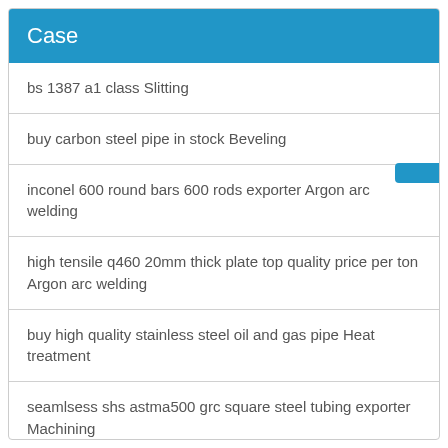Case
bs 1387 a1 class Slitting
buy carbon steel pipe in stock Beveling
inconel 600 round bars 600 rods exporter Argon arc welding
high tensile q460 20mm thick plate top quality price per ton Argon arc welding
buy high quality stainless steel oil and gas pipe Heat treatment
seamlsess shs astma500 grc square steel tubing exporter Machining